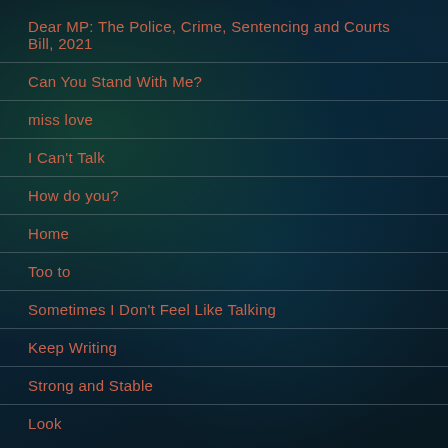Dear MP:  The Police, Crime,  Sentencing and Courts Bill,  2021
Can You Stand With Me?
miss love
I Can't Talk
How do you?
Home
Too to
Sometimes I Don't Feel Like Talking
Keep Writing
Strong and Stable
Look